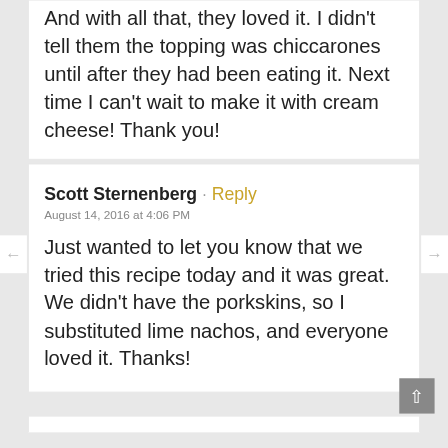And with all that, they loved it. I didn't tell them the topping was chiccarones until after they had been eating it. Next time I can't wait to make it with cream cheese! Thank you!
Scott Sternenberg · Reply
August 14, 2016 at 4:06 PM
Just wanted to let you know that we tried this recipe today and it was great. We didn't have the porkskins, so I substituted lime nachos, and everyone loved it. Thanks!